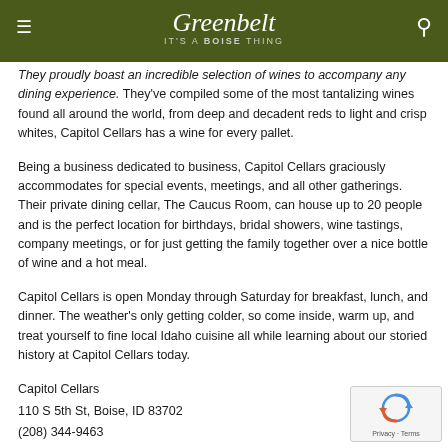Greenbelt — IT'S A BOISE THING
They proudly boast an incredible selection of wines to accompany any dining experience. They've compiled some of the most tantalizing wines found all around the world, from deep and decadent reds to light and crisp whites, Capitol Cellars has a wine for every pallet.
Being a business dedicated to business, Capitol Cellars graciously accommodates for special events, meetings, and all other gatherings. Their private dining cellar, The Caucus Room, can house up to 20 people and is the perfect location for birthdays, bridal showers, wine tastings, company meetings, or for just getting the family together over a nice bottle of wine and a hot meal.
Capitol Cellars is open Monday through Saturday for breakfast, lunch, and dinner. The weather's only getting colder, so come inside, warm up, and treat yourself to fine local Idaho cuisine all while learning about our storied history at Capitol Cellars today.
Capitol Cellars
110 S 5th St, Boise, ID 83702
(208) 344-9463